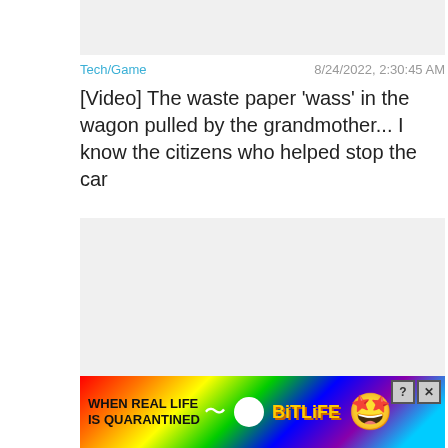[Figure (photo): Grey placeholder image area at top of post]
Tech/Game   8/24/2022, 2:30:45 AM
[Video] The waste paper 'wass' in the wagon pulled by the grandmother... I know the citizens who helped stop the car
[Figure (photo): Grey placeholder image area in middle of post]
Tech/Game   8/24/2022, 2:30
[Figure (infographic): BitLife advertisement banner with rainbow background: WHEN REAL LIFE IS QUARANTINED with BitLife logo and emoji]